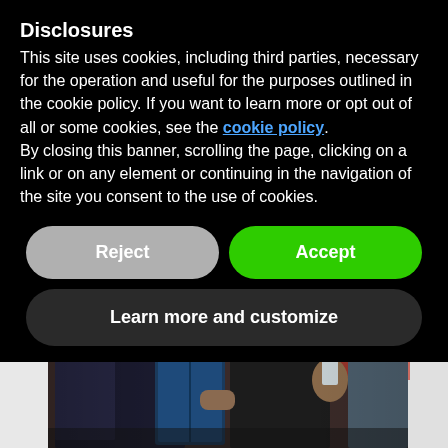Disclosures
This site uses cookies, including third parties, necessary for the operation and useful for the purposes outlined in the cookie policy. If you want to learn more or opt out of all or some cookies, see the cookie policy.
By closing this banner, scrolling the page, clicking on a link or on any element or continuing in the navigation of the site you consent to the use of cookies.
Reject
Accept
Learn more and customize
[Figure (photo): Partial view of people at an event, one person holding a book/folder, another holding a glass, with a sign reading MADE IN MEDA visible in the background]